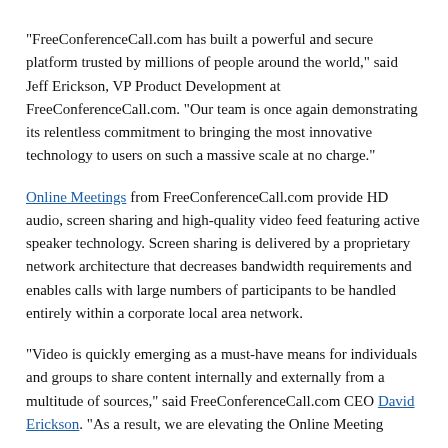“FreeConferenceCall.com has built a powerful and secure platform trusted by millions of people around the world,” said Jeff Erickson, VP Product Development at FreeConferenceCall.com. “Our team is once again demonstrating its relentless commitment to bringing the most innovative technology to users on such a massive scale at no charge.”
Online Meetings from FreeConferenceCall.com provide HD audio, screen sharing and high-quality video feed featuring active speaker technology. Screen sharing is delivered by a proprietary network architecture that decreases bandwidth requirements and enables calls with large numbers of participants to be handled entirely within a corporate local area network.
“Video is quickly emerging as a must-have means for individuals and groups to share content internally and externally from a multitude of sources,” said FreeConferenceCall.com CEO David Erickson. “As a result, we are elevating the Online Meeting…